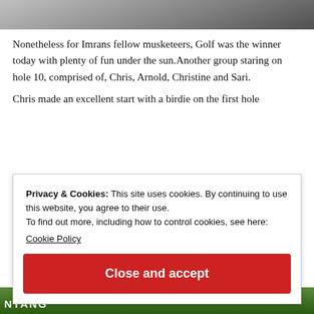[Figure (photo): Partial photo at top of page, cropped — shows part of a person outdoors]
Nonetheless for Imrans fellow musketeers, Golf was the winner today with plenty of fun under the sun.Another group staring on hole 10, comprised of, Chris, Arnold, Christine and Sari.
Chris made an excellent start with a birdie on the first hole
Privacy & Cookies: This site uses cookies. By continuing to use this website, you agree to their use.
To find out more, including how to control cookies, see here:
Cookie Policy
Close and accept
[Figure (photo): Partial photo at bottom of page showing outdoor/nature scene with red element and text 'NTANG']